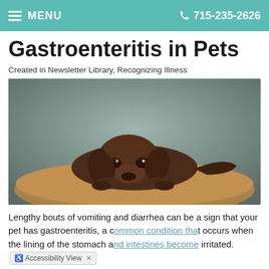MENU   715-235-2626
Gastroenteritis in Pets
Created in Newsletter Library, Recognizing Illness
[Figure (photo): A chocolate Labrador puppy lying flat on a tan dog bed, looking sad or tired, with its head resting on its paws. The background is a neutral grey-green gradient.]
Lengthy bouts of vomiting and diarrhea can be a sign that your pet has gastroenteritis, a common condition that occurs when the lining of the stomach and intestines become irritated.